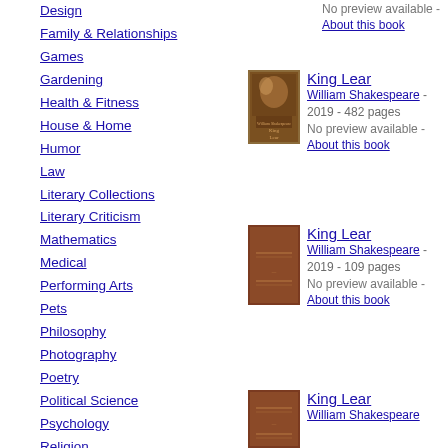Design
Family & Relationships
Games
Gardening
Health & Fitness
House & Home
Humor
Law
Literary Collections
Literary Criticism
Mathematics
Medical
Performing Arts
Pets
Philosophy
Photography
Poetry
Political Science
Psychology
Religion
Self-Help
Social Science
[Figure (illustration): Book cover of King Lear with painting artwork]
King Lear - William Shakespeare - 2019 - 482 pages
No preview available - About this book
[Figure (illustration): Book cover of King Lear, brown leather binding]
King Lear - William Shakespeare - 2019 - 109 pages
No preview available - About this book
[Figure (illustration): Book cover of King Lear, brown leather binding (third entry)]
King Lear - William Shakespeare
No preview available - About this book (top entry)